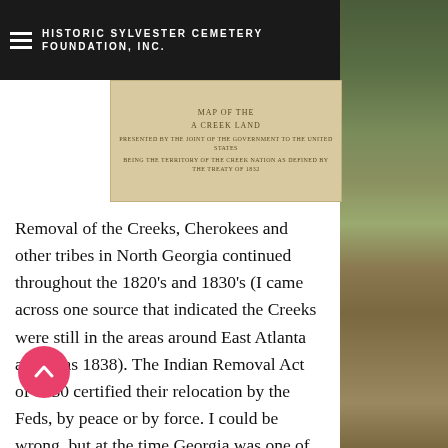HISTORIC SYLVESTER CEMETERY FOUNDATION, INC.
[Figure (photo): Aged historical document with title text, partially legible]
[Figure (photo): Cemetery stone monument with daffodils and fallen leaves, outdoor woodland setting]
Removal of the Creeks, Cherokees and other tribes in North Georgia continued throughout the 1820's and 1830's (I came across one source that indicated the Creeks were still in the areas around East Atlanta as late as 1838). The Indian Removal Act of 1830 certified their relocation by the Feds, by peace or by force. I could be wrong, but at the time Georgia was one of the largest, if not the largest state in the Union. And as Native Americans vacated thousands and thousands of acres, the state of Georgia found itself owner of tall...